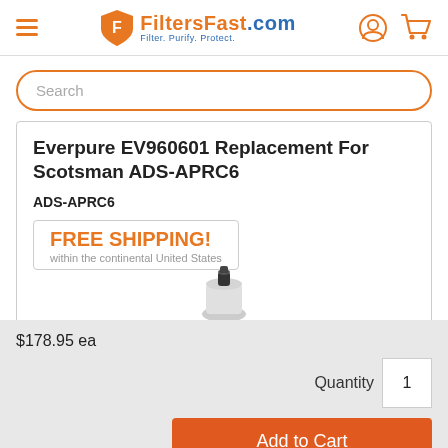FiltersFast.com – Filter. Purify. Protect.
Search
Everpure EV960601 Replacement For Scotsman ADS-APRC6
ADS-APRC6
FREE SHIPPING! within the continental United States
[Figure (photo): Product photo of a water filter component (Everpure EV960601)]
$178.95 ea
Quantity 1
Add to Cart